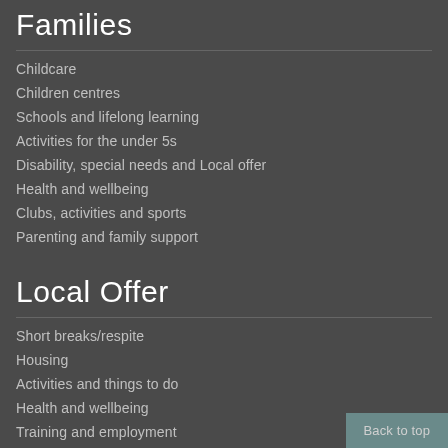Families
Childcare
Children centres
Schools and lifelong learning
Activities for the under 5s
Disability, special needs and Local offer
Health and wellbeing
Clubs, activities and sports
Parenting and family support
Local Offer
Short breaks/respite
Housing
Activities and things to do
Health and wellbeing
Training and employment
Back to top